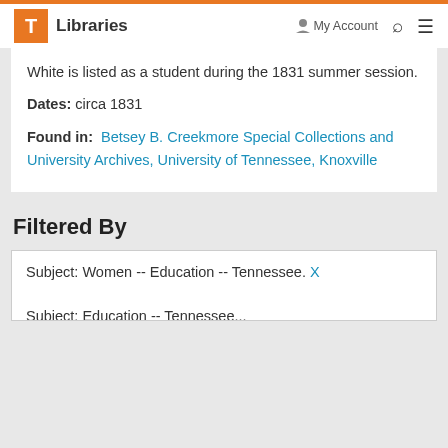T Libraries  My Account  Search  Menu
White is listed as a student during the 1831 summer session.
Dates: circa 1831
Found in: Betsey B. Creekmore Special Collections and University Archives, University of Tennessee, Knoxville
Filtered By
Subject: Women -- Education -- Tennessee. X
Subject: Education -- Tennessee...